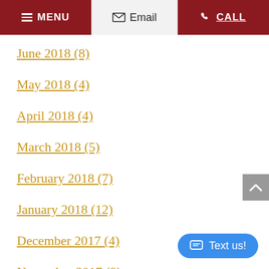MENU | Email | CALL
June 2018 (8)
May 2018 (4)
April 2018 (4)
March 2018 (5)
February 2018 (7)
January 2018 (12)
December 2017 (4)
November 2017 (9)